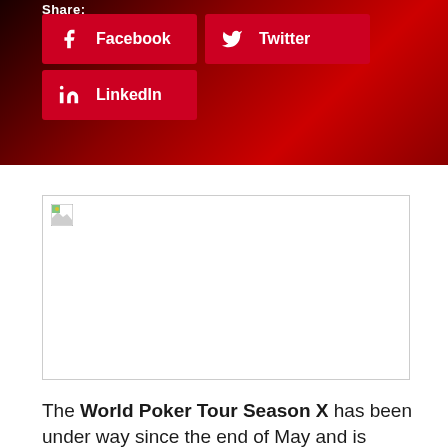Share:
[Figure (infographic): Social sharing buttons for Facebook, Twitter, and LinkedIn on a dark red gradient background]
[Figure (photo): Broken/missing image placeholder with small icon in top-left corner]
The World Poker Tour Season X has been under way since the end of May and is already